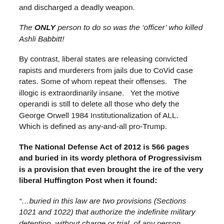and discharged a deadly weapon.
The ONLY person to do so was the 'officer' who killed Ashli Babbitt!
By contrast, liberal states are releasing convicted rapists and murderers from jails due to CoVid case rates. Some of whom repeat their offenses.   The illogic is extraordinarily insane.   Yet the motive operandi is still to delete all those who defy the George Orwell 1984 Institutionalization of ALL.   Which is defined as any-and-all pro-Trump.
The National Defense Act of 2012 is 566 pages and buried in its wordy plethora of Progressivism is a provision that even brought the ire of the very liberal Huffington Post when it found:
“…buried in this law are two provisions (Sections 1021 and 1022) that authorize the indefinite military detention, without charge or trial, of any person labeled a “belligerent”—including an American